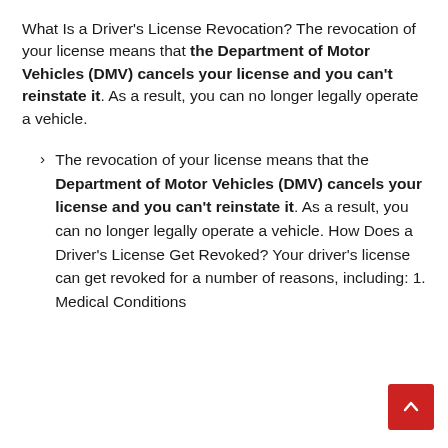What Is a Driver's License Revocation? The revocation of your license means that the Department of Motor Vehicles (DMV) cancels your license and you can't reinstate it. As a result, you can no longer legally operate a vehicle.
The revocation of your license means that the Department of Motor Vehicles (DMV) cancels your license and you can't reinstate it. As a result, you can no longer legally operate a vehicle. How Does a Driver's License Get Revoked? Your driver's license can get revoked for a number of reasons, including: 1. Medical Conditions